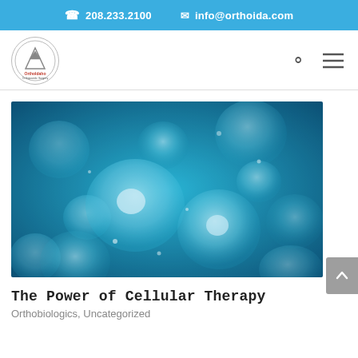208.233.2100   info@orthoida.com
[Figure (logo): OrthoIdaho circular logo with mountain graphic]
[Figure (photo): Close-up macro photo of blue translucent biological cells floating in liquid, representing cellular therapy]
The Power of Cellular Therapy
Orthobiologics, Uncategorized